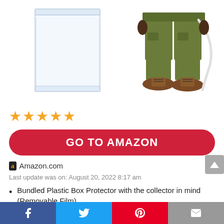[Figure (photo): Product image showing a clear plastic box protector on the left and a stylized pop vinyl figure (Kevin from Home Alone) wearing green pants and brown boots on the right]
[Figure (other): Five gold/orange star rating icons]
GO TO AMAZON
Amazon.com
Last update was on: August 20, 2022 8:17 am
Bundled Plastic Box Protector with the collector in mind (Removable Film)
From Home Alone, Kevin, as a stylized pop vinyl
[Figure (other): Social media share bar at the bottom with Facebook, Twitter, Pinterest, and Email icons]